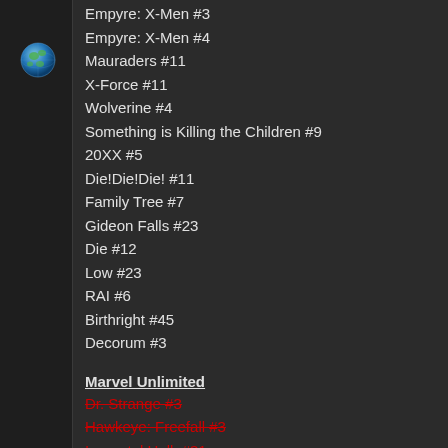[Figure (illustration): Globe emoji icon in left sidebar]
Empyre: X-Men #3
Empyre: X-Men #4
Mauraders #11
X-Force #11
Wolverine #4
Something is Killing the Children #9
20XX #5
Die!Die!Die! #11
Family Tree #7
Gideon Falls #23
Die #12
Low #23
RAI #6
Birthright #45
Decorum #3
Marvel Unlimited
Dr. Strange #3
Hawkeye: Freefall #3
Immortal Hulk #31
Marvels X #2
Nebula #1
The Amazing Spider-Man #39
--------------------------------------------